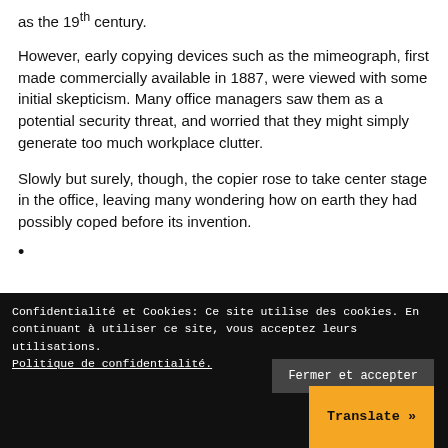as the 19th century.
However, early copying devices such as the mimeograph, first made commercially available in 1887, were viewed with some initial skepticism. Many office managers saw them as a potential security threat, and worried that they might simply generate too much workplace clutter.
Slowly but surely, though, the copier rose to take center stage in the office, leaving many wondering how on earth they had possibly coped before its invention.
•
Confidentialité et Cookies: Ce site utilise des cookies. En continuant à utiliser ce site, vous acceptez leurs utilisations. Politique de confidentialité.
Fermer et accepter
Translate »